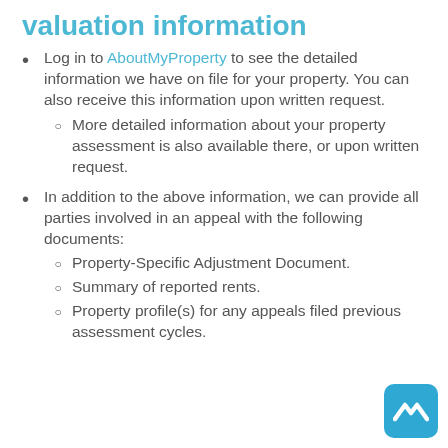valuation information
Log in to AboutMyProperty to see the detailed information we have on file for your property. You can also receive this information upon written request.
More detailed information about your property assessment is also available there, or upon written request.
In addition to the above information, we can provide all parties involved in an appeal with the following documents:
Property-Specific Adjustment Document.
Summary of reported rents.
Property profile(s) for any appeals filed previous assessment cycles.